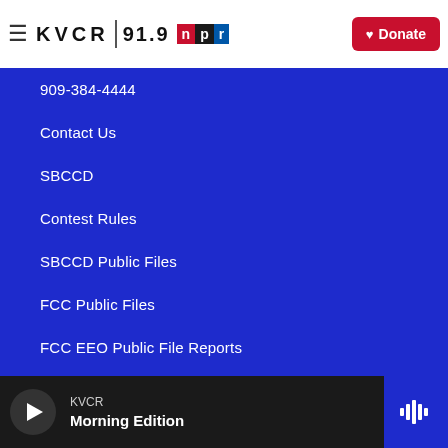KVCR 91.9 NPR | Donate
909-384-4444
Contact Us
SBCCD
Contest Rules
SBCCD Public Files
FCC Public Files
FCC EEO Public File Reports
Current FCC Applications
KVCR TV
KVCR | Morning Edition